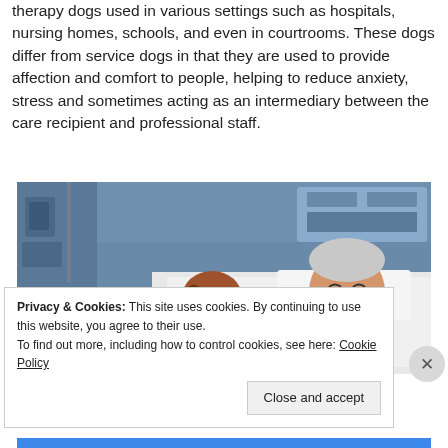therapy dogs used in various settings such as hospitals, nursing homes, schools, and even in courtrooms. These dogs differ from service dogs in that they are used to provide affection and comfort to people, helping to reduce anxiety, stress and sometimes acting as an intermediary between the care recipient and professional staff.
[Figure (photo): A dachshund therapy dog wearing a pink vest sitting beside an elderly man laughing in a hospital bed, with medical equipment visible in the background.]
Privacy & Cookies: This site uses cookies. By continuing to use this website, you agree to their use.
To find out more, including how to control cookies, see here: Cookie Policy
Close and accept